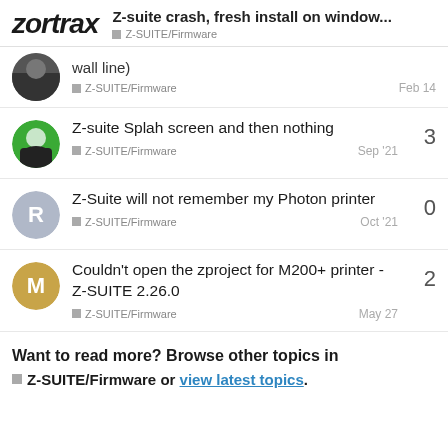Z-suite crash, fresh install on window... | Z-SUITE/Firmware
wall line)
Z-SUITE/Firmware | Feb 14
Z-suite Splah screen and then nothing | Z-SUITE/Firmware | Sep '21 | 3 replies
Z-Suite will not remember my Photon printer | Z-SUITE/Firmware | Oct '21 | 0 replies
Couldn't open the zproject for M200+ printer - Z-SUITE 2.26.0 | Z-SUITE/Firmware | May 27 | 2 replies
Want to read more? Browse other topics in Z-SUITE/Firmware or view latest topics.